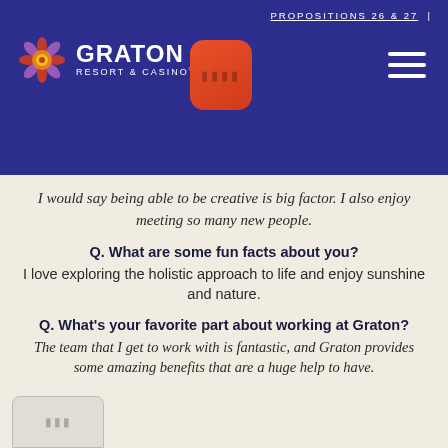PROPOSITIONS 26 & 27
[Figure (logo): Graton Resort & Casino logo with colorful flower emblem on dark blue header background, with orange rounded rectangle icon and hamburger menu]
I would say being able to be creative is big factor. I also enjoy meeting so many new people.
Q. What are some fun facts about you?
I love exploring the holistic approach to life and enjoy sunshine and nature.
Q. What’s your favorite part about working at Graton?
The team that I get to work with is fantastic, and Graton provides some amazing benefits that are a huge help to have.
[Figure (screenshot): Small grey rounded rectangle icon at bottom left corner]